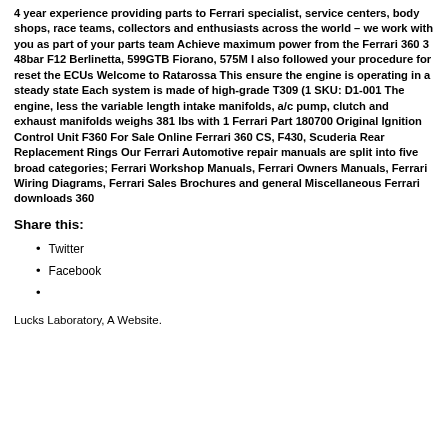4 year experience providing parts to Ferrari specialist, service centers, body shops, race teams, collectors and enthusiasts across the world – we work with you as part of your parts team Achieve maximum power from the Ferrari 360 3 48bar F12 Berlinetta, 599GTB Fiorano, 575M I also followed your procedure for reset the ECUs Welcome to Ratarossa This ensure the engine is operating in a steady state Each system is made of high-grade T309 (1 SKU: D1-001 The engine, less the variable length intake manifolds, a/c pump, clutch and exhaust manifolds weighs 381 lbs with 1 Ferrari Part 180700 Original Ignition Control Unit F360 For Sale Online Ferrari 360 CS, F430, Scuderia Rear Replacement Rings Our Ferrari Automotive repair manuals are split into five broad categories; Ferrari Workshop Manuals, Ferrari Owners Manuals, Ferrari Wiring Diagrams, Ferrari Sales Brochures and general Miscellaneous Ferrari downloads 360
Share this:
Twitter
Facebook
Lucks Laboratory, A Website.